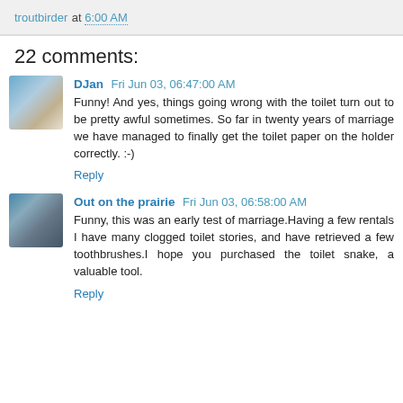troutbirder at 6:00 AM
22 comments:
DJan  Fri Jun 03, 06:47:00 AM
Funny! And yes, things going wrong with the toilet turn out to be pretty awful sometimes. So far in twenty years of marriage we have managed to finally get the toilet paper on the holder correctly. :-)
Reply
Out on the prairie  Fri Jun 03, 06:58:00 AM
Funny, this was an early test of marriage.Having a few rentals I have many clogged toilet stories, and have retrieved a few toothbrushes.I hope you purchased the toilet snake, a valuable tool.
Reply